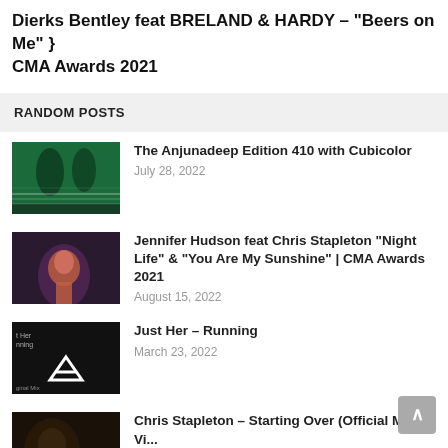Dierks Bentley feat BRELAND & HARDY – "Beers on Me" } CMA Awards 2021
RANDOM POSTS
[Figure (photo): Dark green music performance thumbnail with silhouettes]
The Anjunadeep Edition 410 with Cubicolor
July 28, 2022
[Figure (photo): Jennifer Hudson performing on stage at CMA Awards]
Jennifer Hudson feat Chris Stapleton "Night Life" & "You Are My Sunshine" | CMA Awards 2021
August 15, 2022
[Figure (photo): Just Her Running - Anjunadeep music video thumbnail with logo]
Just Her – Running
March 23, 2022
[Figure (photo): Chris Stapleton Starting Over official music video thumbnail]
Chris Stapleton – Starting Over (Official Music Vi...